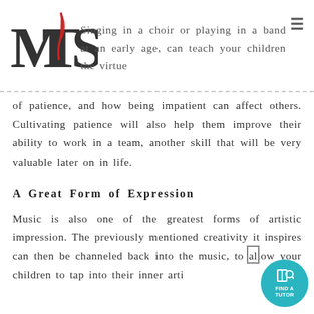MTS logo and navigation header
Singing in a choir or playing in a band at an early age, can teach your children the virtue of patience, and how being impatient can affect others. Cultivating patience will also help them improve their ability to work in a team, another skill that will be very valuable later on in life.
A Great Form of Expression
Music is also one of the greatest forms of artistic impression. The previously mentioned creativity it inspires can then be channeled back into the music, to allow your children to tap into their inner arti...